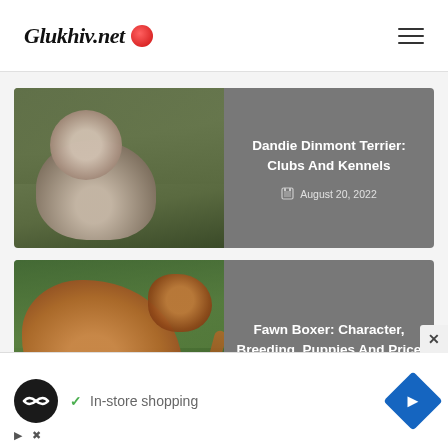Glukhiv.net
[Figure (photo): Article card with photo of a Dandie Dinmont Terrier dog on grass, title overlay: Dandie Dinmont Terrier: Clubs And Kennels, date: August 20, 2022]
Dandie Dinmont Terrier: Clubs And Kennels
August 20, 2022
[Figure (photo): Article card with photo of a Fawn Boxer dog, title overlay: Fawn Boxer: Character, Breeding, Puppies And Price]
Fawn Boxer: Character, Breeding, Puppies And Price
In-store shopping